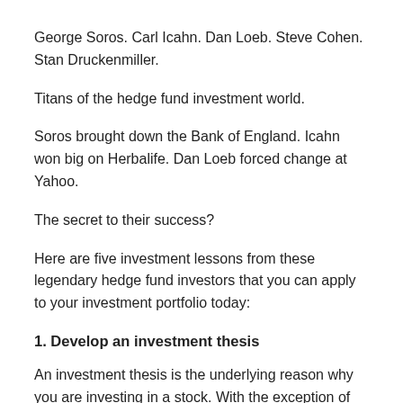George Soros. Carl Icahn. Dan Loeb. Steve Cohen. Stan Druckenmiller.
Titans of the hedge fund investment world.
Soros brought down the Bank of England. Icahn won big on Herbalife. Dan Loeb forced change at Yahoo.
The secret to their success?
Here are five investment lessons from these legendary hedge fund investors that you can apply to your investment portfolio today:
1. Develop an investment thesis
An investment thesis is the underlying reason why you are investing in a stock. With the exception of momentum traders and quants, most hedge fund investors develop an investment